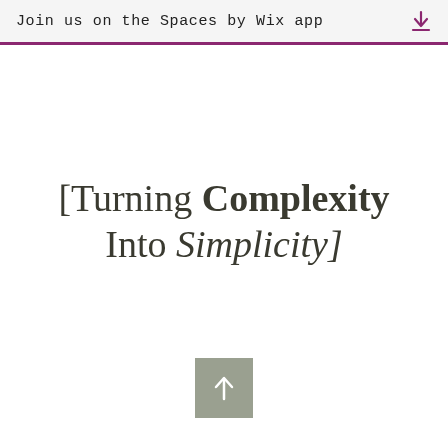Join us on the Spaces by Wix app
[Turning Complexity Into Simplicity]
[Figure (other): Scroll-to-top button: a sage/olive green square with a white upward arrow icon]